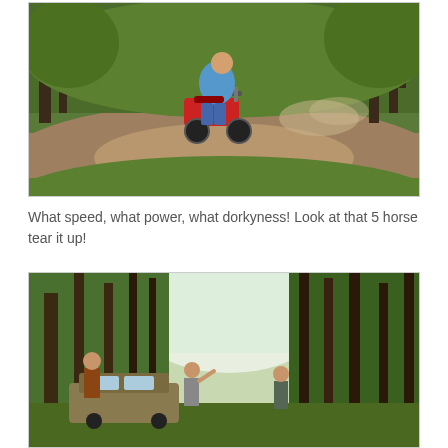[Figure (photo): A person riding a small red motorized mini-bike or go-kart on a dirt trail, kicking up dust, surrounded by green forest and grass. The rider is wearing a blue shirt and jeans.]
What speed, what power, what dorkyness! Look at that 5 horse tear it up!
[Figure (photo): Two people standing outdoors in a wooded forest area near an old car. One person appears to be waving. Tall green trees surround them with bright sky visible in the background.]